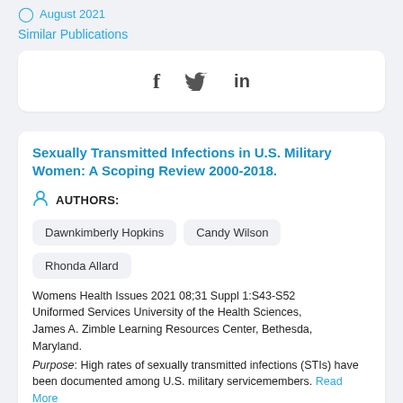August 2021
Similar Publications
[Figure (other): Social sharing icons: Facebook (f), Twitter (bird), LinkedIn (in)]
Sexually Transmitted Infections in U.S. Military Women: A Scoping Review 2000-2018.
AUTHORS:
Dawnkimberly Hopkins
Candy Wilson
Rhonda Allard
Womens Health Issues 2021 08;31 Suppl 1:S43-S52 Uniformed Services University of the Health Sciences, James A. Zimble Learning Resources Center, Bethesda, Maryland.
Purpose: High rates of sexually transmitted infections (STIs) have been documented among U.S. military servicemembers. Read More